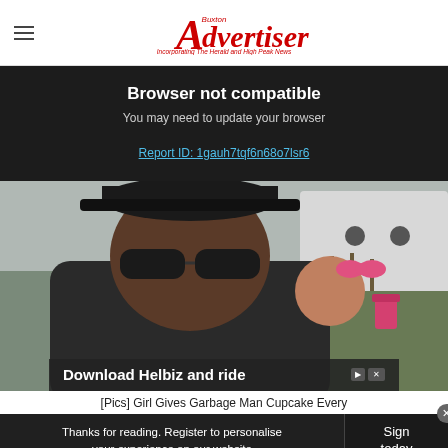Buxton Advertiser — Incorporating The Herald and High Peak News
Browser not compatible
You may need to update your browser
Report ID: 1gauh7tqf6n68o7lsr6
[Figure (photo): Man wearing sunglasses and a black cap inside a vehicle, with a child wearing a pink bow visible behind him. Background shows a field and leafless trees.]
Download Helbiz and ride
[Pics] Girl Gives Garbage Man Cupcake Every
Thanks for reading. Register to personalise your experience on our website
Sign today